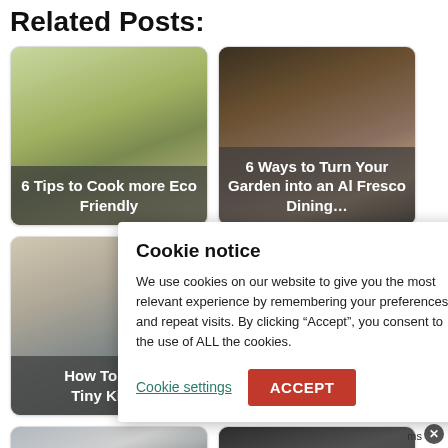Related Posts:
[Figure (photo): Eco-friendly plant/nature image with text overlay '6 Tips to Cook more Eco Friendly']
[Figure (photo): Garden dining scene with text overlay '6 Ways to Turn Your Garden into an Al Fresco Dining…']
[Figure (photo): Kitchen interior image with text overlay 'How To Co... Tiny Kitc...' (partially hidden by cookie notice)]
[Figure (photo): Dark partially visible image (second card in row 2, mostly covered)]
[Figure (photo): Timer/kitchen tool partial image at bottom left]
[Figure (photo): Dark partial image at bottom right with text '5 Best Kitchen...']
Cookie notice
We use cookies on our website to give you the most relevant experience by remembering your preferences and repeat visits. By clicking “Accept”, you consent to the use of ALL the cookies.
Cookie settings   ACCEPT